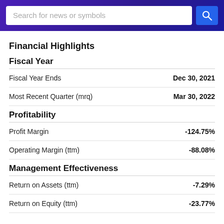[Figure (screenshot): Search bar with purple gradient header and blue search button]
Financial Highlights
Fiscal Year
|  |  |
| --- | --- |
| Fiscal Year Ends | Dec 30, 2021 |
| Most Recent Quarter (mrq) | Mar 30, 2022 |
Profitability
|  |  |
| --- | --- |
| Profit Margin | -124.75% |
| Operating Margin (ttm) | -88.08% |
Management Effectiveness
|  |  |
| --- | --- |
| Return on Assets (ttm) | -7.29% |
| Return on Equity (ttm) | -23.77% |